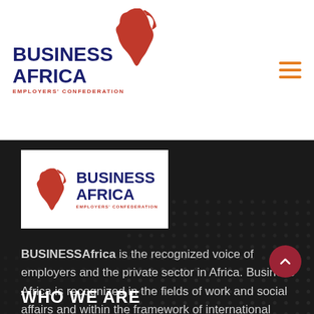[Figure (logo): Business Africa Employers Confederation logo in white header area with red Africa map silhouette and dark blue text]
[Figure (logo): Business Africa Employers Confederation logo in white box on dark background]
BUSINESSAfrica is the recognized voice of employers and the private sector in Africa. Business Africa is recognized in the fields of work and social affairs and within the framework of international organizations
> Read more
WHO WE ARE